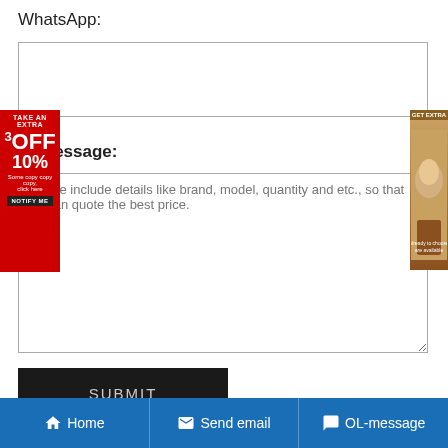WhatsApp:
Message:
Please include details like brand, model, quantity and etc., so that we can quote the best price.
SUBMIT
| Model | Title | Price |
| --- | --- | --- |
| BL318ZZ | NSK BL318ZZ Bearing - Bearing Cooperation | Email To Buy |
Home | Send email | OL-message